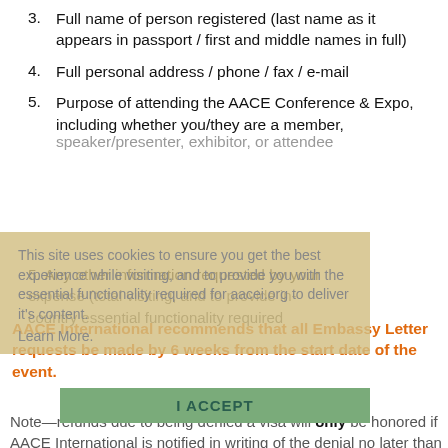3. Full name of person registered (last name as it appears in passport / first and middle names in full)
4. Full personal address / phone / fax / e-mail
5. Purpose of attending the AACE Conference & Expo, including whether you/they are a member, speaker/presenter, exhibitor, or attendee
5. Any other information requested by your expense (total visiting, and to provide in-country essential functionality required for aacei.org to deliver it's content.
This site uses cookies to ensure you get the best experience while visiting, and to provide you with the essential functionality required for aacei.org to deliver it's content. Learn More.
AACE International recommends that all Embassy Letter requests be made by 6 weeks from the start date of the event.
I ACCEPT
Note—refunds due to being denied a visa will only be honored if AACE International is notified in writing of the denial no later than two weeks prior to the